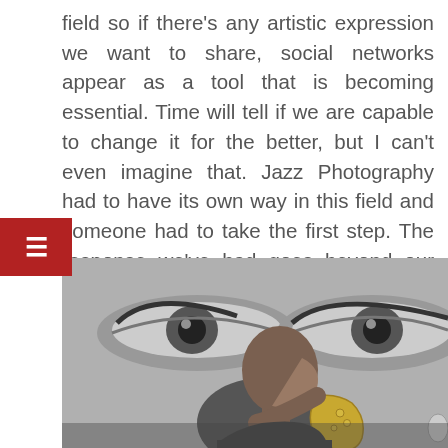field so if there's any artistic expression we want to share, social networks appear as a tool that is becoming essential. Time will tell if we are capable to change it for the better, but I can't even imagine that. Jazz Photography had to have its own way in this field and someone had to take the first step. The response we've had goes beyond our initial expectations, but is just shows how important this media is.
[Figure (photo): Black and white photograph of a bald man playing saxophone in profile, in front of a large mural of a woman's face with dramatic eyes.]